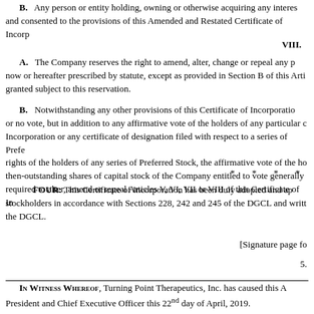B. Any person or entity holding, owning or otherwise acquiring any interest and consented to the provisions of this Amended and Restated Certificate of Incorp
VIII.
A. The Company reserves the right to amend, alter, change or repeal any p now or hereafter prescribed by statute, except as provided in Section B of this Arti granted subject to this reservation.
B. Notwithstanding any other provisions of this Certificate of Incorporatio or no vote, but in addition to any affirmative vote of the holders of any particular c Incorporation or any certificate of designation filed with respect to a series of Prefe rights of the holders of any series of Preferred Stock, the affirmative vote of the ho then-outstanding shares of capital stock of the Company entitled to vote generally required to alter, amend or repeal Articles V, VI, VII or VIII of this Certificate of In
* * * *
FOUR: This Certificate of Incorporation has been duly adopted and ap stockholders in accordance with Sections 228, 242 and 245 of the DGCL and writt the DGCL.
[Signature page fo
5.
IN WITNESS WHEREOF, Turning Point Therapeutics, Inc. has caused this A President and Chief Executive Officer this 22nd day of April, 2019.